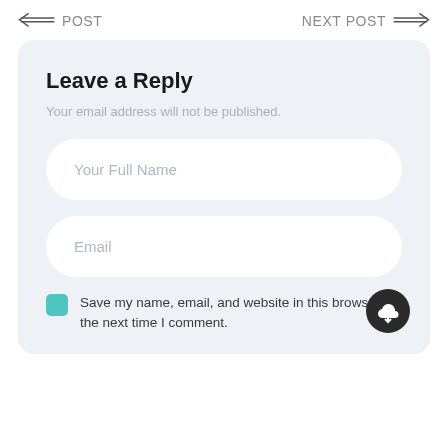← POST    NEXT POST →
Leave a Reply
Your email address will not be published.
Your Full Name
Email
Save my name, email, and website in this browser for the next time I comment.